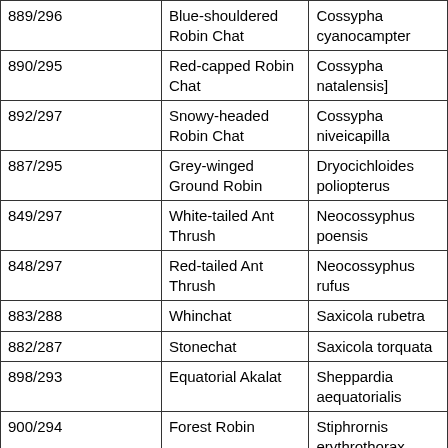| 889/296 | Blue-shouldered Robin Chat | Cossypha cyanocampter |
| 890/295 | Red-capped Robin Chat | Cossypha natalensis] |
| 892/297 | Snowy-headed Robin Chat | Cossypha niveicapilla |
| 887/295 | Grey-winged Ground Robin | Dryocichloides poliopterus |
| 849/297 | White-tailed Ant Thrush | Neocossyphus poensis |
| 848/297 | Red-tailed Ant Thrush | Neocossyphus rufus |
| 883/288 | Whinchat | Saxicola rubetra |
| 882/287 | Stonechat | Saxicola torquata |
| 898/293 | Equatorial Akalat | Sheppardia aequatorialis |
| 900/294 | Forest Robin | Stiphrornis erythrothorax |
| 810/297 | Rufous Thrush | Stizorhina fraseri |
| ----/--- | Prigogine's Ground Thrush | Turdus kibalensis |